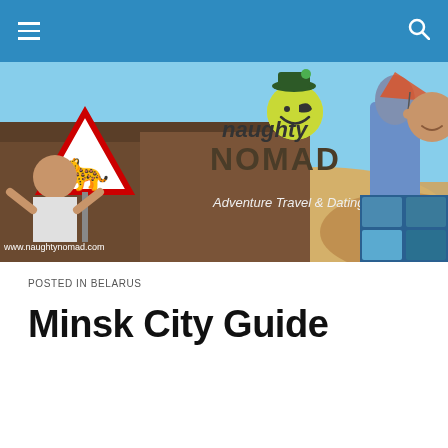Navigation bar with hamburger menu and search icon
[Figure (illustration): Naughty Nomad adventure travel and dating blog banner image featuring desert landscapes, a warning sign, people, a hang glider, and the text 'naughty NOMAD Adventure Travel & Dating Blog' with www.naughtynomad.com]
POSTED IN BELARUS
Minsk City Guide